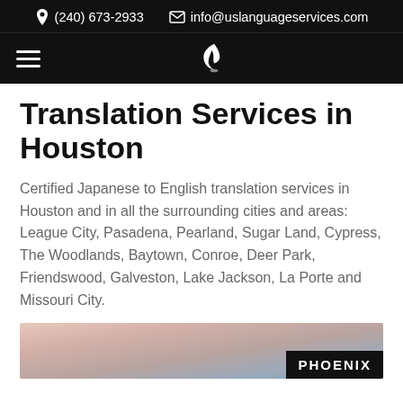(240) 673-2933   info@uslanguageservices.com
Translation Services in Houston
Certified Japanese to English translation services in Houston and in all the surrounding cities and areas: League City, Pasadena, Pearland, Sugar Land, Cypress, The Woodlands, Baytown, Conroe, Deer Park, Friendswood, Galveston, Lake Jackson, La Porte and Missouri City.
[Figure (photo): Skyline or cityscape photo with a dark badge overlay showing the text PHOENIX]